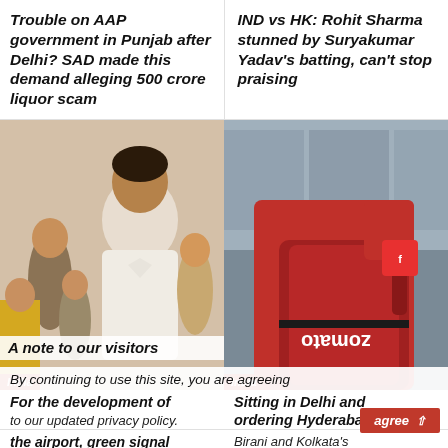Trouble on AAP government in Punjab after Delhi? SAD made this demand alleging 500 crore liquor scam
IND vs HK: Rohit Sharma stunned by Suryakumar Yadav's batting, can't stop praising
[Figure (photo): Man in white shirt standing with officials, India badge overlay]
[Figure (photo): Zomato delivery person in red uniform with bag, India badge overlay]
A note to our visitors
By continuing to use this site, you are agreeing to our updated privacy policy.
For the development of the airport, green signal was given to the
Sitting in Delhi and ordering Hyderabad's Birani and Kolkata's